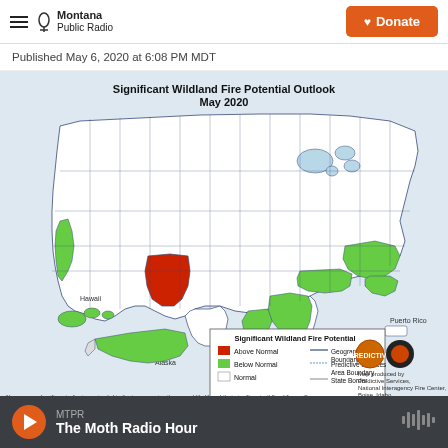Montana Public Radio
Published May 6, 2020 at 6:08 PM MDT
[Figure (map): Significant Wildland Fire Potential Outlook map of the United States for May 2020. Shows above normal fire potential (red) in parts of the Southwest (Arizona/New Mexico area), below normal potential (green) in parts of the Southeast and along the Pacific coast and Alaska, and normal (white) for most of the country. Includes legend showing Geographic Area Boundary, Predictive Services Area Boundary, and State Border. Map produced by Predictive Services, National Interagency Fire Center, Boise, Idaho. Insets for Hawaii, Alaska, and Puerto Rico included.]
MTPR — The Moth Radio Hour